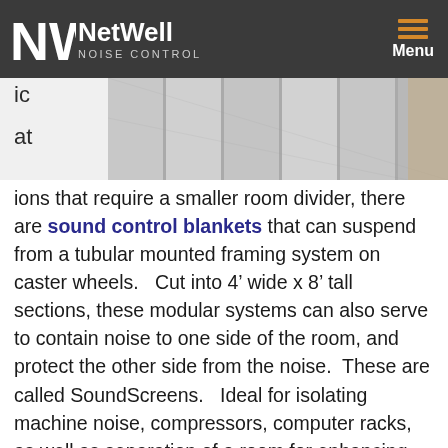NetWell NOISE CONTROL | Menu
[Figure (photo): Partial view of a room with white textured wall panels or acoustic treatment, cropped at top of page]
ic
at
ions that require a smaller room divider, there are sound control blankets that can suspend from a tubular mounted framing system on caster wheels.   Cut into 4’ wide x 8’ tall sections, these modular systems can also serve to contain noise to one side of the room, and protect the other side from the noise.  These are called SoundScreens.   Ideal for isolating machine noise, compressors, computer racks, as well as separation of a room for enhancing the social distancing.